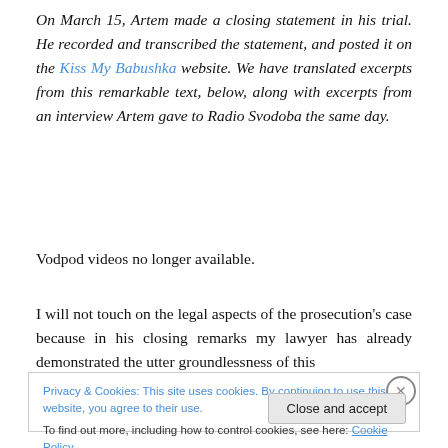On March 15, Artem made a closing statement in his trial. He recorded and transcribed the statement, and posted it on the Kiss My Babushka website. We have translated excerpts from this remarkable text, below, along with excerpts from an interview Artem gave to Radio Svodoba the same day.
Vodpod videos no longer available.
I will not touch on the legal aspects of the prosecution's case because in his closing remarks my lawyer has already demonstrated the utter groundlessness of this
Privacy & Cookies: This site uses cookies. By continuing to use this website, you agree to their use.
To find out more, including how to control cookies, see here: Cookie Policy
Close and accept